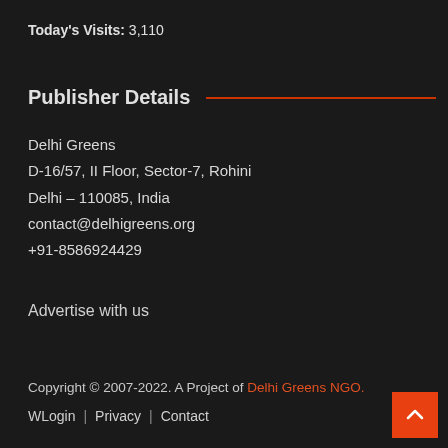Today's Visits: 3,110
Publisher Details
Delhi Greens
D-16/57, II Floor, Sector-7, Rohini
Delhi – 110085, India
contact@delhigreens.org
+91-8586924429
Advertise with us
Copyright © 2007-2022. A Project of Delhi Greens NGO.
WLogin | Privacy | Contact